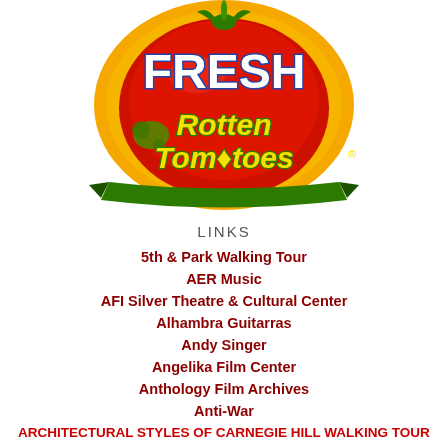[Figure (logo): Fresh / Rotten Tomatoes logo: a red tomato on a yellow/orange circular background with green ribbon banner underneath, bold white text 'FRESH' and yellow stylized text 'Rotten Tomatoes']
LINKS
5th & Park Walking Tour
AER Music
AFI Silver Theatre & Cultural Center
Alhambra Guitarras
Andy Singer
Angelika Film Center
Anthology Film Archives
Anti-War
ARCHITECTURAL STYLES OF CARNEGIE HILL WALKING TOUR